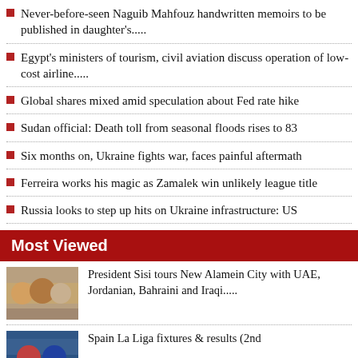Never-before-seen Naguib Mahfouz handwritten memoirs to be published in daughter's.....
Egypt's ministers of tourism, civil aviation discuss operation of low-cost airline.....
Global shares mixed amid speculation about Fed rate hike
Sudan official: Death toll from seasonal floods rises to 83
Six months on, Ukraine fights war, faces painful aftermath
Ferreira works his magic as Zamalek win unlikely league title
Russia looks to step up hits on Ukraine infrastructure: US
Most Viewed
President Sisi tours New Alamein City with UAE, Jordanian, Bahraini and Iraqi.....
Spain La Liga fixtures & results (2nd